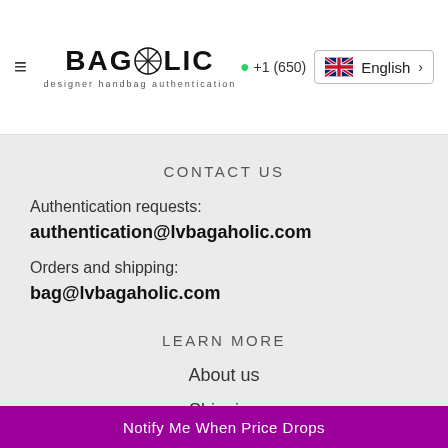BAGAHOLIC designer handbag authentication | +1 (650) | English
CONTACT US
Authentication requests:
authentication@lvbagaholic.com
Orders and shipping:
bag@lvbagaholic.com
LEARN MORE
About us
Shipping
Notify Me When Price Drops